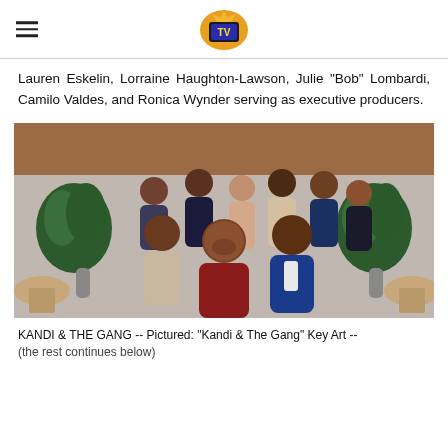[Logo: TV network icon with hamburger menu]
Lauren Eskelin, Lorraine Haughton-Lawson, Julie "Bob" Lombardi, Camilo Valdes, and Ronica Wynder serving as executive producers.
[Figure (photo): Group photo of 'Kandi & The Gang' cast members in a restaurant setting. A woman in a red off-shoulder gown is in the foreground, surrounded by several other cast members dressed in formal attire. Two large tropical plants are visible in the background.]
KANDI & THE GANG -- Pictured: "Kandi & The Gang" Key Art -- (the rest continues below)